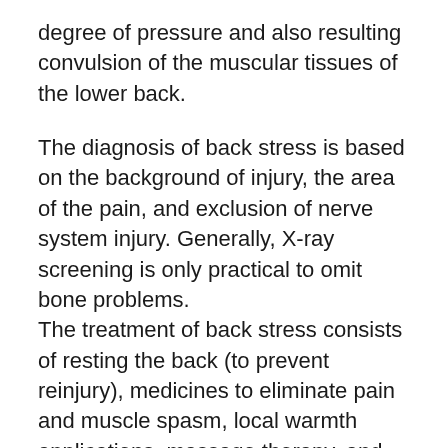degree of pressure and also resulting convulsion of the muscular tissues of the lower back.
The diagnosis of back stress is based on the background of injury, the area of the pain, and exclusion of nerve system injury. Generally, X-ray screening is only practical to omit bone problems.
The treatment of back stress consists of resting the back (to prevent reinjury), medicines to eliminate pain and muscle spasm, local warmth applications, massage therapy, and also eventual (after the severe episode fixes) replacing workouts to enhance the lower back and also abdominal muscles.